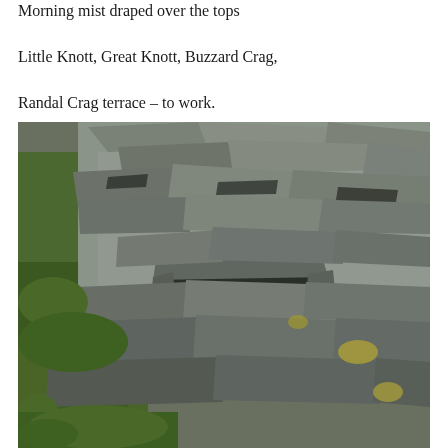Morning mist draped over the tops
Little Knott, Great Knott, Buzzard Crag,
Randal Crag terrace – to work.
[Figure (photo): Outdoor photograph of a rocky mountain terrace showing large flat grey slate stones scattered across a hillside, with patches of green moss and low shrubs. In the lower-centre of the image there appears to be a small stone alcove or shelter formed by stacked rocks. The scene is lit by bright sunlight with blue sky visible at the top.]